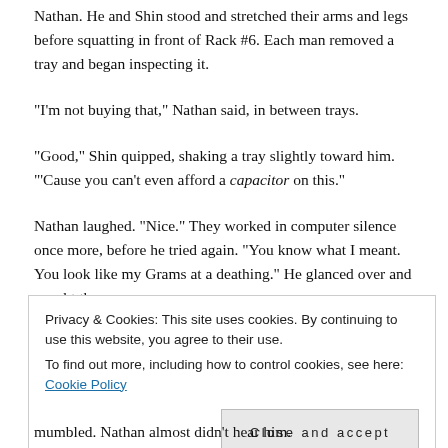Nathan. He and Shin stood and stretched their arms and legs before squatting in front of Rack #6. Each man removed a tray and began inspecting it.
“I’m not buying that,” Nathan said, in between trays.
“Good,” Shin quipped, shaking a tray slightly toward him. ‘’Cause you can’t even afford a capacitor on this.”
Nathan laughed. “Nice.” They worked in computer silence once more, before he tried again. “You know what I meant. You look like my Grams at a deathing.” He glanced over and caught the
Privacy & Cookies: This site uses cookies. By continuing to use this website, you agree to their use.
To find out more, including how to control cookies, see here: Cookie Policy
Close and accept
mumbled. Nathan almost didn’t hear him.